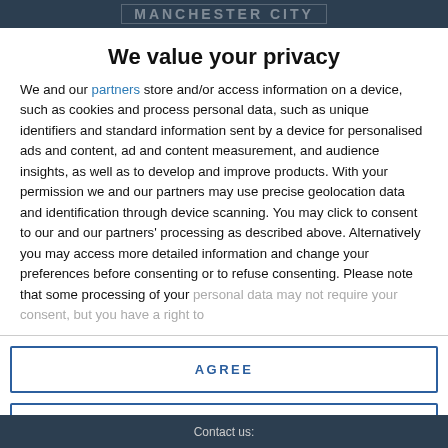MANCHESTER CITY
We value your privacy
We and our partners store and/or access information on a device, such as cookies and process personal data, such as unique identifiers and standard information sent by a device for personalised ads and content, ad and content measurement, and audience insights, as well as to develop and improve products. With your permission we and our partners may use precise geolocation data and identification through device scanning. You may click to consent to our and our partners' processing as described above. Alternatively you may access more detailed information and change your preferences before consenting or to refuse consenting. Please note that some processing of your personal data may not require your consent, but you have a right to
AGREE
MORE OPTIONS
Contact us: